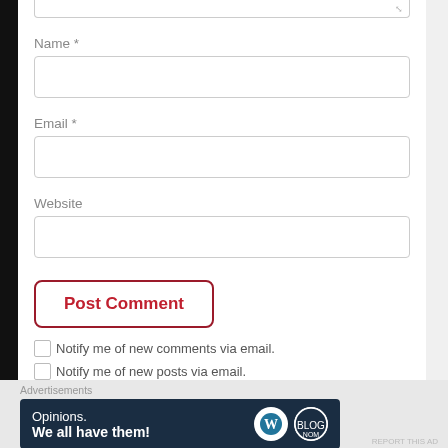Name *
[Figure (screenshot): Empty text input box for Name field]
Email *
[Figure (screenshot): Empty text input box for Email field]
Website
[Figure (screenshot): Empty text input box for Website field]
[Figure (screenshot): Post Comment button with red border and text]
Notify me of new comments via email.
Notify me of new posts via email.
Advertisements
[Figure (screenshot): WordPress ad banner: Opinions. We all have them!]